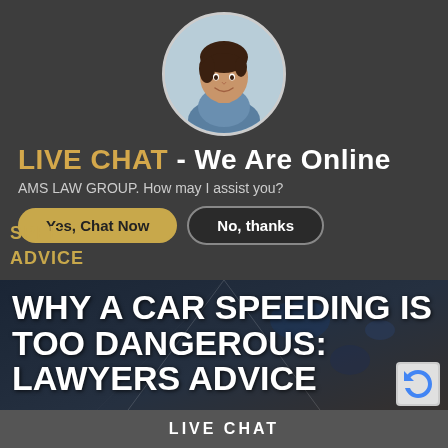[Figure (photo): Circular avatar of a woman with dark hair, smiling, used as a live chat representative avatar.]
LIVE CHAT - We Are Online
AMS LAW GROUP. How may I assist you?
Yes, Chat Now | No, thanks (buttons)
SPEED... N...RS ADVICE
WHY A CAR SPEEDING IS TOO DANGEROUS: LAWYERS ADVICE
LIVE CHAT